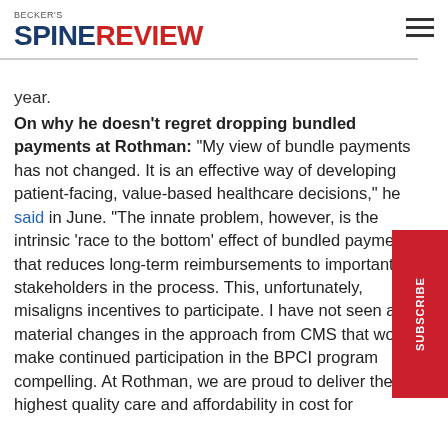BECKER'S SPINE REVIEW
year.
On why he doesn't regret dropping bundled payments at Rothman: "My view of bundle payments has not changed. It is an effective way of developing patient-facing, value-based healthcare decisions," he said in June. "The innate problem, however, is the intrinsic 'race to the bottom' effect of bundled payments that reduces long-term reimbursements to important stakeholders in the process. This, unfortunately, misaligns incentives to participate. I have not seen any material changes in the approach from CMS that would make continued participation in the BPCI program compelling. At Rothman, we are proud to deliver the highest quality care and affordability in cost for